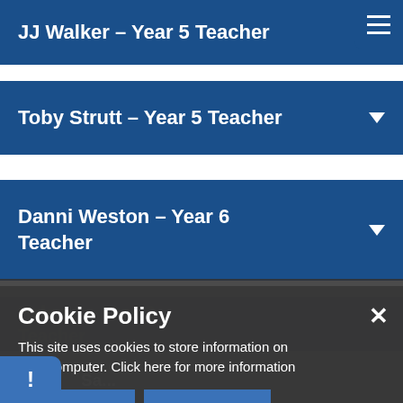JJ Walker – Year 5 Teacher
Toby Strutt – Year 5 Teacher
Danni Weston – Year 6 Teacher
Helen [partially visible] – Year 6 Teacher
Sa... [partially visible]
Cookie Policy
This site uses cookies to store information on your computer. Click here for more information
Allow Cookies
Cookie Settings